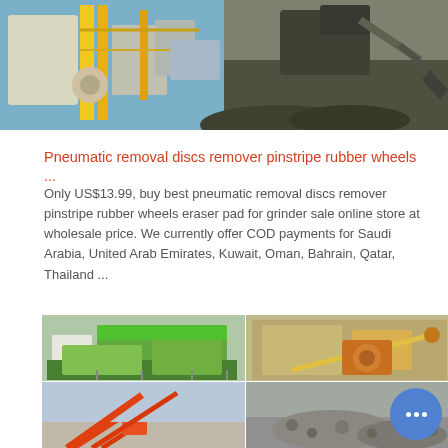[Figure (photo): Two industrial photos side by side: left shows yellow industrial machinery/plant equipment; right shows a large excavator moving dark soil/coal.]
Pneumatic removal discs remover pinstripe rubber wheels ...
Only US$13.99, buy best pneumatic removal discs remover pinstripe rubber wheels eraser pad for grinder sale online store at wholesale price. We currently offer COD payments for Saudi Arabia, United Arab Emirates, Kuwait, Oman, Bahrain, Qatar, Thailand ...
[Figure (photo): Four industrial photos in a 2x2 grid: top-left shows green crushing/screening plant, top-right shows yellow quarry jaw crusher equipment, bottom-left shows orange conveyor structure at a quarry, bottom-right shows aggregate/gravel pile with machinery.]